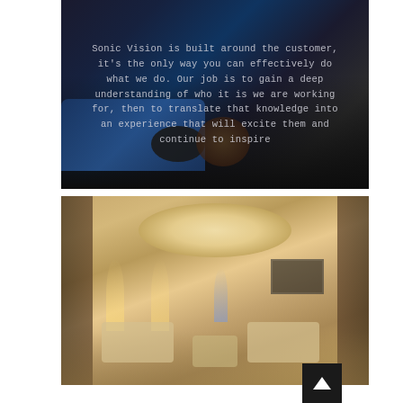[Figure (photo): Dark interior room photo with blue velvet sofa, decorative throw pillow, and round side table. A quote text overlay is displayed over the image.]
Sonic Vision is built around the customer, it's the only way you can effectively do what we do. Our job is to gain a deep understanding of who it is we are working for, then to translate that knowledge into an experience that will excite them and continue to inspire
[Figure (photo): Interior photo of a home cinema or luxury screening room with a large oval ceiling light fixture, wall spotlights, soft seating, and a TV screen visible at the far end.]